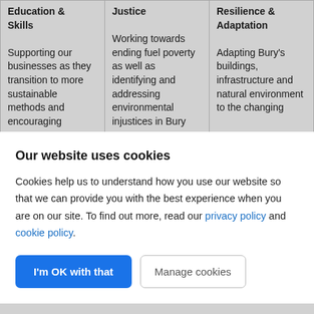| Education & Skills | Justice | Resilience & Adaptation |
| --- | --- | --- |
| Supporting our businesses as they transition to more sustainable methods and encouraging | Working towards ending fuel poverty as well as identifying and addressing environmental injustices in Bury | Adapting Bury's buildings, infrastructure and natural environment to the changing |
Our website uses cookies
Cookies help us to understand how you use our website so that we can provide you with the best experience when you are on our site. To find out more, read our privacy policy and cookie policy.